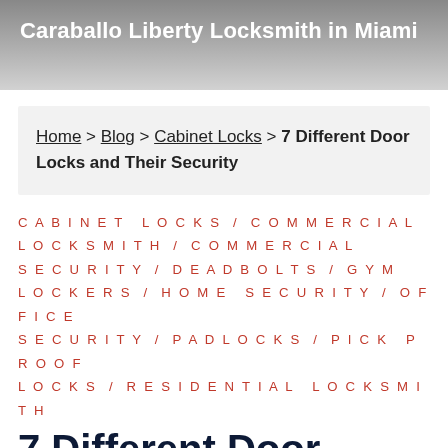Caraballo Liberty Locksmith in Miami
Home > Blog > Cabinet Locks > 7 Different Door Locks and Their Security
CABINET LOCKS / COMMERCIAL LOCKSMITH / COMMERCIAL SECURITY / DEADBOLTS / GYM LOCKERS / HOME SECURITY / OFFICE SECURITY / PADLOCKS / PICK PROOF LOCKS / RESIDENTIAL LOCKSMITH
7 Different Door Locks and Their Security